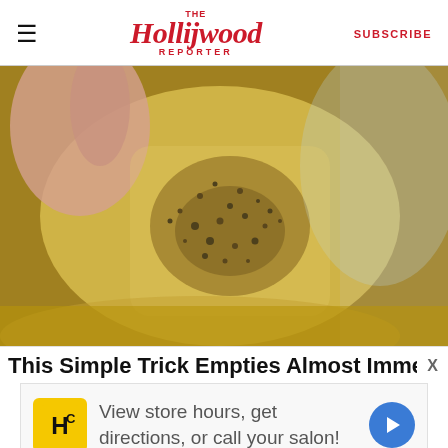The Hollywood Reporter | SUBSCRIBE
[Figure (photo): Close-up photo of a hand holding a yellowish translucent material with dark speckled granules/pepper on it, over a glass bowl]
This Simple Trick Empties Almost Immediately You
View store hours, get directions, or call your salon!